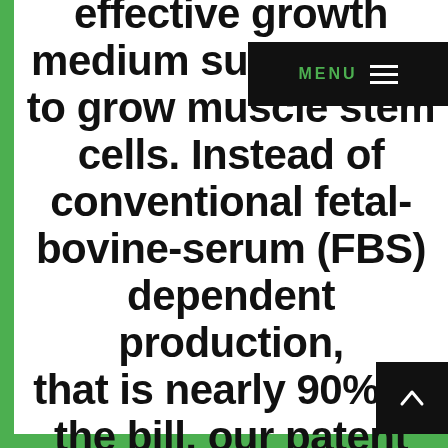effective growth medium supplement to grow muscle stem cells. Instead of conventional fetal-bovine-serum (FBS) dependent production, that is nearly 90% of the bill, our patent pending formulation decreases related